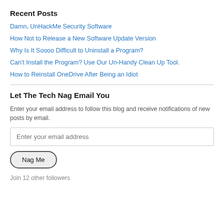Recent Posts
Damn, UnHackMe Security Software
How Not to Release a New Software Update Version
Why Is It Soooo Difficult to Uninstall a Program?
Can't Install the Program? Use Our Un-Handy Clean Up Tool.
How to Reinstall OneDrive After Being an Idiot
Let The Tech Nag Email You
Enter your email address to follow this blog and receive notifications of new posts by email.
Enter your email address
Nag Me
Join 12 other followers